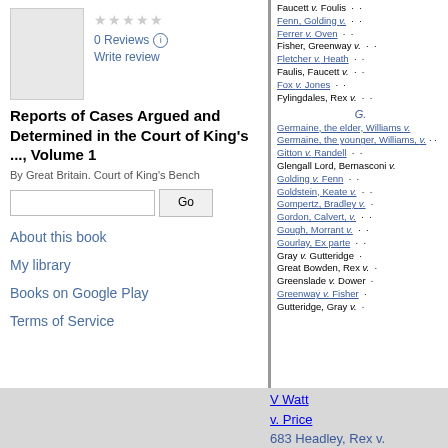[Figure (illustration): Book cover thumbnail for 'Reports of Cases Argued and Determined in the Court of King's Bench']
0 Reviews
Write review
Reports of Cases Argued and Determined in the Court of King's ..., Volume 1
By Great Britain. Court of King's Bench
About this book
My library
Books on Google Play
Terms of Service
Faucett v. Foulis
Fenn, Golding v.
Ferrer v. Oven
Fisher, Greenway v.
Fletcher v. Heath
Faulis, Faucett v.
Fox v. Jones
Fylingdales, Rex v.
G.
Germaine, the elder, Williams v.
Germaine, the younger, Williams v.
Gitton v. Randell
Glengall Lord, Bernasconi v.
Golding v. Fenn
Goldstein, Keate v.
Gompertz, Bradley v.
Gordon, Calvert, v.
Gough, Morrant v.
Gourlay, Ex parte
Gray v. Gutteridge
Great Bowden, Rex v.
Greenslade v. Dower
Greenway v. Fisher
Gutteridge, Gray v.
V Watt
v. Price
683 Headley, Rex v.